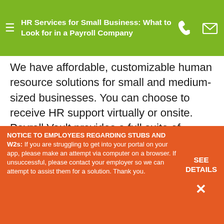HR Services for Small Business: What to Look for in a Payroll Company
We have affordable, customizable human resource solutions for small and medium-sized businesses. You can choose to receive HR support virtually or onsite. Payroll Vault provides a full suite of scalable HR and payroll services to help improve your business's operations as you grow, including HR Online, our web-based comprehensive suite of tools and resources to help manage employees and remain compliant; HR On-Demand, which provides
NOTICE TO EMPLOYEES REGARDING STUBS AND W2s: If you are struggling to get into your portal on your app, please make an attempt via computer on a browser. If unsuccessful, please contact your employer so we can attempt to assist them for a solution. Thank you.
SEE DETAILS